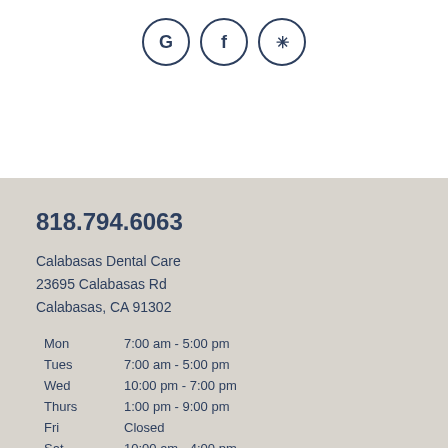[Figure (other): Three circular social media icons for Google, Facebook, and Yelp]
818.794.6063
Calabasas Dental Care
23695 Calabasas Rd
Calabasas, CA 91302
| Mon | 7:00 am - 5:00 pm |
| Tues | 7:00 am - 5:00 pm |
| Wed | 10:00 pm - 7:00 pm |
| Thurs | 1:00 pm - 9:00 pm |
| Fri | Closed |
| Sat | 10:00 am - 4:00 pm |
| Sun | Closed |